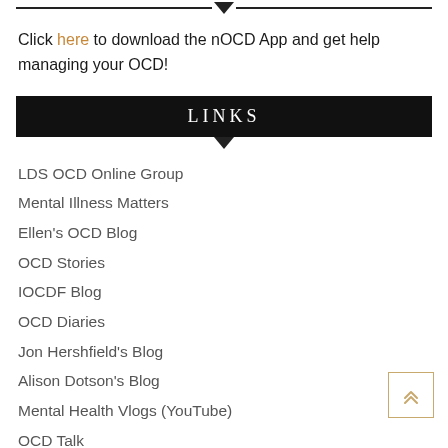Click here to download the nOCD App and get help managing your OCD!
LINKS
LDS OCD Online Group
Mental Illness Matters
Ellen's OCD Blog
OCD Stories
IOCDF Blog
OCD Diaries
Jon Hershfield's Blog
Alison Dotson's Blog
Mental Health Vlogs (YouTube)
OCD Talk
The Secret Illness